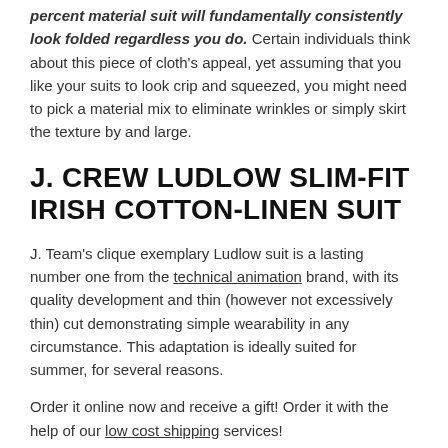percent material suit will fundamentally consistently look folded regardless you do. Certain individuals think about this piece of cloth's appeal, yet assuming that you like your suits to look crip and squeezed, you might need to pick a material mix to eliminate wrinkles or simply skirt the texture by and large.
J. CREW LUDLOW SLIM-FIT IRISH COTTON-LINEN SUIT
J. Team's clique exemplary Ludlow suit is a lasting number one from the technical animation brand, with its quality development and thin (however not excessively thin) cut demonstrating simple wearability in any circumstance. This adaptation is ideally suited for summer, for several reasons.
Order it online now and receive a gift! Order it with the help of our low cost shipping services!
[Figure (photo): Bottom portion of a man wearing a grey suit jacket, photo cropped at chin level, blurred background]